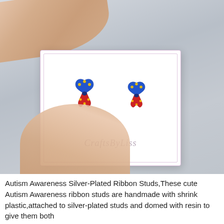[Figure (photo): A hand holding a small white jewelry card with two autism awareness ribbon stud earrings. The ribbon studs are multi-colored (blue, red, yellow puzzle pattern) and are displayed on a white card branded 'CraftsByLiss'. The background is light gray.]
Autism Awareness Silver-Plated Ribbon Studs,These cute Autism Awareness ribbon studs are handmade with shrink plastic,attached to silver-plated studs and domed with resin to give them both a sense of depth as well as a high shine and are sure to get attention!